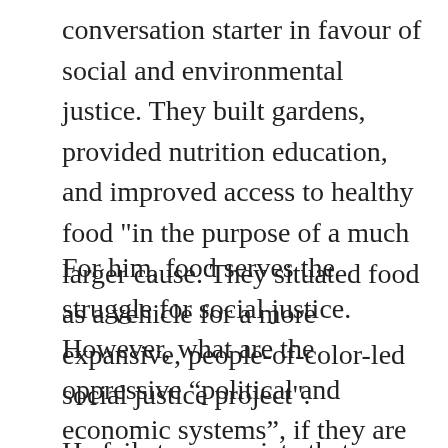conversation starter in favour of social and environmental justice. They built gardens, provided nutrition education, and improved access to healthy food "in the purpose of a much larger cause. They situated food as a vehicle for a more expansive, people-of-color-led social justice project".
For him, food serves the struggle for social justice. However, what are the oppressive “political and economic systems”, if they are not the way we eat?
He fails to appreciate that justice is a higher cause, which means less basic, as argued by the sages. Fascinated how “ideologists turn everything upside-down”, Marx and Engels observed: "The judge, for example, applies the code, he therefore regards legislation as the real active driving force". Like th